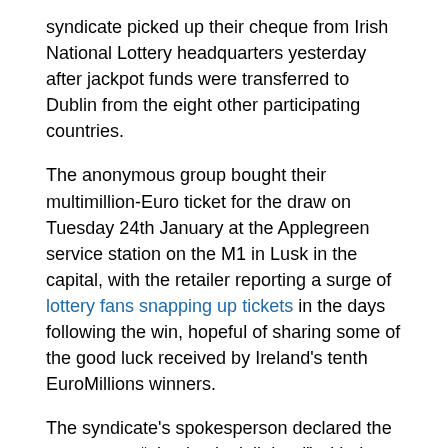syndicate picked up their cheque from Irish National Lottery headquarters yesterday after jackpot funds were transferred to Dublin from the eight other participating countries.
The anonymous group bought their multimillion-Euro ticket for the draw on Tuesday 24th January at the Applegreen service station on the M1 in Lusk in the capital, with the retailer reporting a surge of lottery fans snapping up tickets in the days following the win, hopeful of sharing some of the good luck received by Ireland's tenth EuroMillions winners.
The syndicate's spokesperson declared the group were “absolutely delighted” with the win, remarking that they were looking forward to the “financial freedom” from not having to worry about mortgages and other bills. Asked about their plans, the spokesperson said, “we're looking forward to enjoying the win with our families and we might indulge by booking our sun holidays in the next couple of days.”
They added, “we will be having a quiet party with family and friends to celebrate our good fortune. We will not be getting carried away with our win and we will return to normal